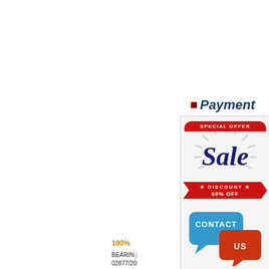Payment
[Figure (infographic): Special Offer Sale Discount 50% Off promotional banner with Contact Us call-to-action speech bubbles]
100%
BEARING 02877/20 02877/20 02872/20 manufacturer Koyo 32 prodcing » 33211 site and PayPal.We guarantee to p 33211JR types,price,size chart,cro HI CAP KOYO 47 02872/20-HI C KOYO 33211JR Wheel Bearing E CAP KOYO 47 02872/20-HI CA Assemblies>33211JR33211 3321